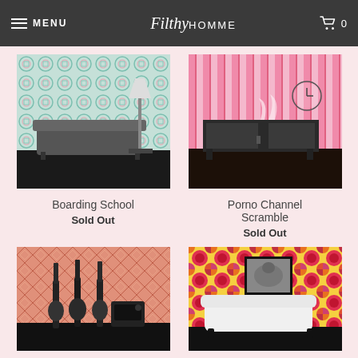MENU | FilthyHOMME | 0
[Figure (photo): Room scene with teal/pink geometric wallpaper pattern and dark sofa with floor lamp]
Boarding School
Sold Out
[Figure (photo): Room scene with pink striped wallpaper and dark sideboard with clock]
Porno Channel Scramble
Sold Out
[Figure (photo): Room scene with coral/pink diamond pattern wallpaper and electric guitars]
[Figure (photo): Room scene with floral wallpaper (red, yellow, burgundy flowers) and white sofa with artwork]